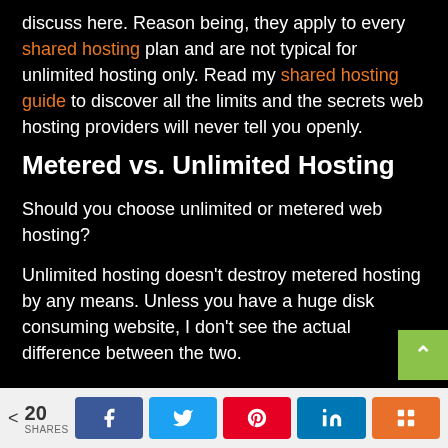discuss here. Reason being, they apply to every shared hosting plan and are not typical for unlimited hosting only. Read my shared hosting guide to discover all the limits and the secrets web hosting providers will never tell you openly.
Metered vs. Unlimited Hosting
Should you choose unlimited or metered web hosting?
Unlimited hosting doesn't destroy metered hosting by any means. Unless you have a huge disk consuming website, I don't see the actual difference between the two.
< 20 SHARES [Facebook] [Twitter] [Pinterest] [LinkedIn] [Mix]